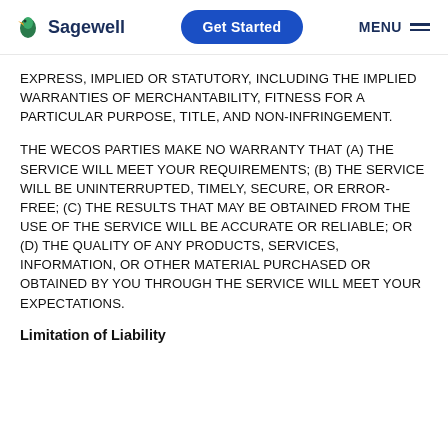Sagewell | Get Started | MENU
EXPRESS, IMPLIED OR STATUTORY, INCLUDING THE IMPLIED WARRANTIES OF MERCHANTABILITY, FITNESS FOR A PARTICULAR PURPOSE, TITLE, AND NON-INFRINGEMENT.
THE WECOS PARTIES MAKE NO WARRANTY THAT (A) THE SERVICE WILL MEET YOUR REQUIREMENTS; (B) THE SERVICE WILL BE UNINTERRUPTED, TIMELY, SECURE, OR ERROR-FREE; (C) THE RESULTS THAT MAY BE OBTAINED FROM THE USE OF THE SERVICE WILL BE ACCURATE OR RELIABLE; OR (D) THE QUALITY OF ANY PRODUCTS, SERVICES, INFORMATION, OR OTHER MATERIAL PURCHASED OR OBTAINED BY YOU THROUGH THE SERVICE WILL MEET YOUR EXPECTATIONS.
Limitation of Liability